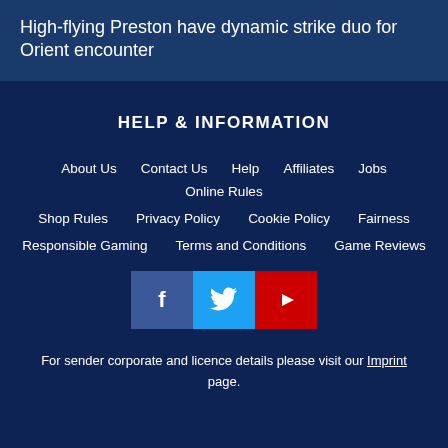High-flying Preston have dynamic strike duo for Orient encounter
HELP & INFORMATION
About Us
Contact Us
Help
Affiliates
Jobs
Online Rules
Shop Rules
Privacy Policy
Cookie Policy
Fairness
Responsible Gaming
Terms and Conditions
Game Reviews
[Figure (other): Social media icons: Facebook (blue), Twitter (light blue), YouTube (red)]
For sender corporate and licence details please visit our Imprint page.